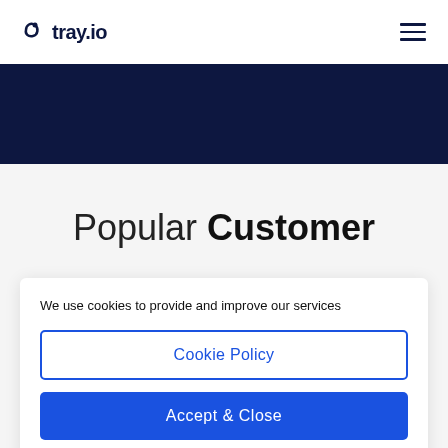tray.io
[Figure (screenshot): Dark navy blue banner section below the header navigation]
Popular Customer
We use cookies to provide and improve our services
Cookie Policy
Accept & Close